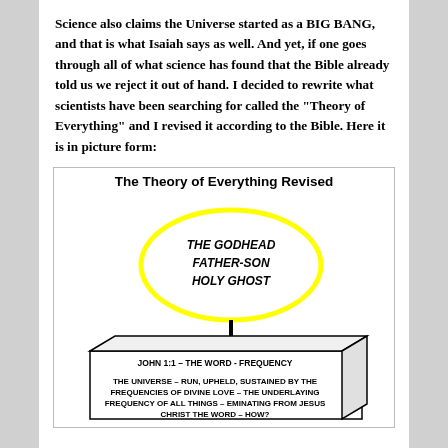Science also claims the Universe started as a BIG BANG, and that is what Isaiah says as well. And yet, if one goes through all of what science has found that the Bible already told us we reject it out of hand. I decided to rewrite what scientists have been searching for called the "Theory of Everything" and I revised it according to the Bible. Here it is in picture form:
[Figure (flowchart): A flowchart showing The Godhead (Father-Son, Holy Ghost) inside a yellow ellipse, with an arrow pointing down to a 3D box representing the Universe run by the frequencies of divine love from Jesus Christ the Word.]